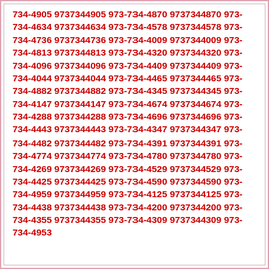734-4905 9737344905 973-734-4870 9737344870 973-734-4634 9737344634 973-734-4578 9737344578 973-734-4736 9737344736 973-734-4009 9737344009 973-734-4813 9737344813 973-734-4320 9737344320 973-734-4096 9737344096 973-734-4409 9737344409 973-734-4044 9737344044 973-734-4465 9737344465 973-734-4882 9737344882 973-734-4345 9737344345 973-734-4147 9737344147 973-734-4674 9737344674 973-734-4288 9737344288 973-734-4696 9737344696 973-734-4443 9737344443 973-734-4347 9737344347 973-734-4482 9737344482 973-734-4391 9737344391 973-734-4774 9737344774 973-734-4780 9737344780 973-734-4269 9737344269 973-734-4529 9737344529 973-734-4425 9737344425 973-734-4590 9737344590 973-734-4959 9737344959 973-734-4125 9737344125 973-734-4438 9737344438 973-734-4200 9737344200 973-734-4355 9737344355 973-734-4309 9737344309 973-734-4953